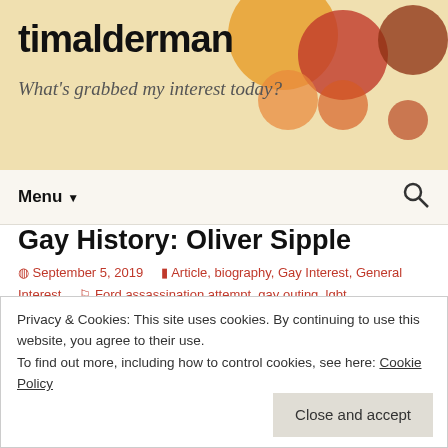timalderman — What's grabbed my interest today?
Gay History: Oliver Sipple
September 5, 2019   Article, biography, Gay Interest, General Interest   Ford assassination attempt, gay outing, lgbt discrimination, Oliver Sipple, President Gerald Ford
Oliver Wellington “Billy” Sipple (November 20, 1941 – February
Privacy & Cookies: This site uses cookies. By continuing to use this website, you agree to their use.
To find out more, including how to control cookies, see here: Cookie Policy